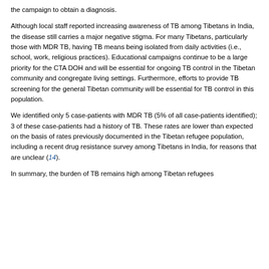the campaign to obtain a diagnosis.
Although local staff reported increasing awareness of TB among Tibetans in India, the disease still carries a major negative stigma. For many Tibetans, particularly those with MDR TB, having TB means being isolated from daily activities (i.e., school, work, religious practices). Educational campaigns continue to be a large priority for the CTA DOH and will be essential for ongoing TB control in the Tibetan community and congregate living settings. Furthermore, efforts to provide TB screening for the general Tibetan community will be essential for TB control in this population.
We identified only 5 case-patients with MDR TB (5% of all case-patients identified); 3 of these case-patients had a history of TB. These rates are lower than expected on the basis of rates previously documented in the Tibetan refugee population, including a recent drug resistance survey among Tibetans in India, for reasons that are unclear (14).
In summary, the burden of TB remains high among Tibetan refugees